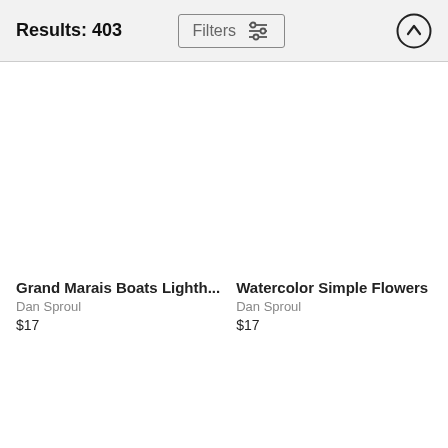Results: 403
Filters
Grand Marais Boats Lighth...
Dan Sproul
$17
Watercolor Simple Flowers
Dan Sproul
$17